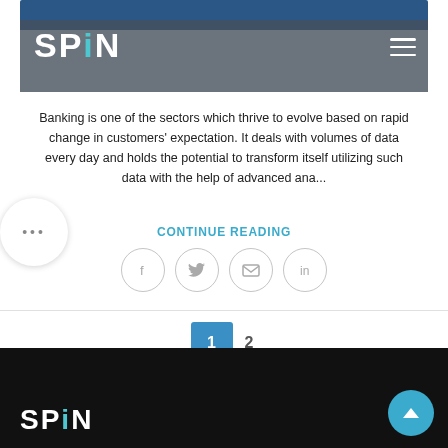[Figure (screenshot): Article card with SPIN logo overlay on blue header image, hamburger menu icon, article excerpt text, continue reading link, social share icons, and pagination controls]
Banking is one of the sectors which thrive to evolve based on rapid change in customers' expectation. It deals with volumes of data every day and holds the potential to transform itself utilizing such data with the help of advanced ana...
CONTINUE READING
1  2
[Figure (logo): SPIN logo in white on black footer background]